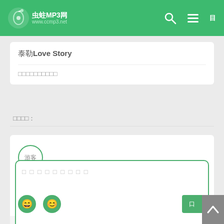虫蛀MP3网 www.ccmp3.net
泰勒Love Story
□□□□□□□□□□
□□□□：
[Figure (screenshot): Comment form area with avatar circle labeled '游客', a text area with placeholder '请输入评论内容', emoji buttons, and a submit button]
□□□□□□□□□□□□□□